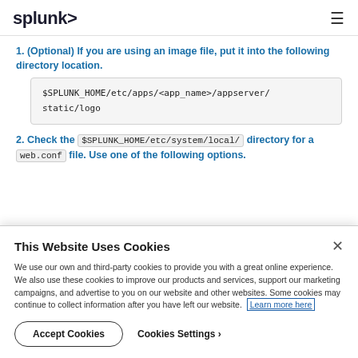splunk>
1. (Optional) If you are using an image file, put it into the following directory location.
$SPLUNK_HOME/etc/apps/<app_name>/appserver/static/logo
2. Check the $SPLUNK_HOME/etc/system/local/ directory for a web.conf file. Use one of the following options.
This Website Uses Cookies
We use our own and third-party cookies to provide you with a great online experience. We also use these cookies to improve our products and services, support our marketing campaigns, and advertise to you on our website and other websites. Some cookies may continue to collect information after you have left our website. Learn more here
Accept Cookies   Cookies Settings ›